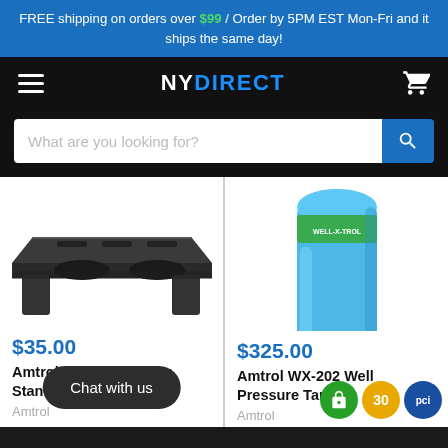FREE shipping on orders over $99 / Order by 5PM EST Mon-Fri and it ships the same day!
[Figure (screenshot): NYDirect logo with hamburger menu and shopping cart icon in black navigation bar]
[Figure (screenshot): Search bar with placeholder text 'What are you looking for?' and blue search button]
[Figure (photo): Amtrol Pump Mounting Stand product image - dark metal mounting bracket]
$35.00
Amtrol Pump Mounting Stand
Amtrol
[Figure (photo): Amtrol WX-202 Well Pressure Tank product image - blue cylindrical pressure tank with Well-X-Trol label]
$325.00
Amtrol WX-202 Well Pressure Tank
Amtrol
[Figure (infographic): Chat with us button overlay and three trust badge circles: green lock, gold 30, blue PCI]